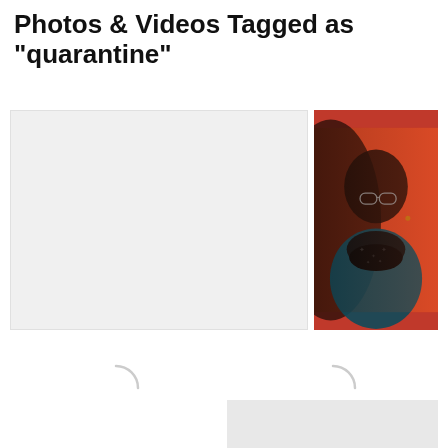Photos & Videos Tagged as "quarantine"
[Figure (photo): Placeholder gray rectangle on the left side of the top image row (loading state)]
[Figure (photo): Photo of a person wearing a dark patterned face mask and glasses against an orange/red background]
[Figure (photo): Loading spinner (partial circle arc) in lower left box]
[Figure (photo): Loading spinner (partial circle arc) in lower right box]